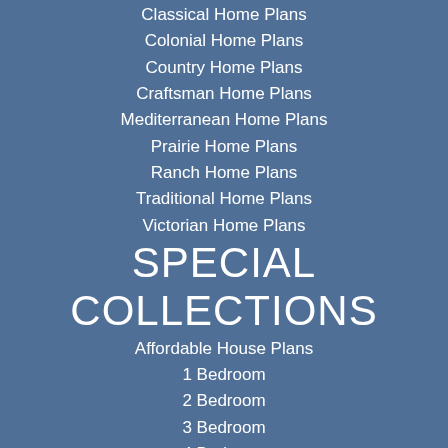Classical Home Plans
Colonial Home Plans
Country Home Plans
Craftsman Home Plans
Mediterranean Home Plans
Prairie Home Plans
Ranch Home Plans
Traditional Home Plans
Victorian Home Plans
SPECIAL COLLECTIONS
Affordable House Plans
1 Bedroom
2 Bedroom
3 Bedroom
4 Bedroom
Garage Plans